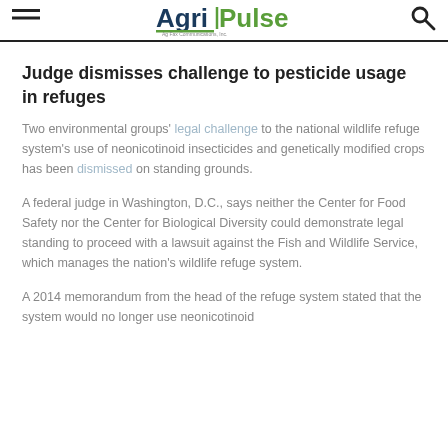Agri-Pulse
Judge dismisses challenge to pesticide usage in refuges
Two environmental groups' legal challenge to the national wildlife refuge system's use of neonicotinoid insecticides and genetically modified crops has been dismissed on standing grounds.
A federal judge in Washington, D.C., says neither the Center for Food Safety nor the Center for Biological Diversity could demonstrate legal standing to proceed with a lawsuit against the Fish and Wildlife Service, which manages the nation's wildlife refuge system.
A 2014 memorandum from the head of the refuge system stated that the system would no longer use neonicotinoid